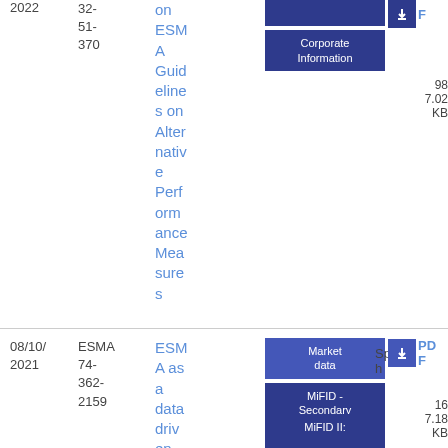2022
32-51-370
on ESMA Guidelines on Alternative Performance Measures
| Tag |
| --- |
| Corporate Information |
PDF
98
7.02 KB
08/10/2021
ESMA 74-362-2159
ESMA as a data driven
| Tag |
| --- |
| Market data |
| MiFID - Secondary Markets |
| MiFID II: |
Speech
PDF
16
7.18 KB